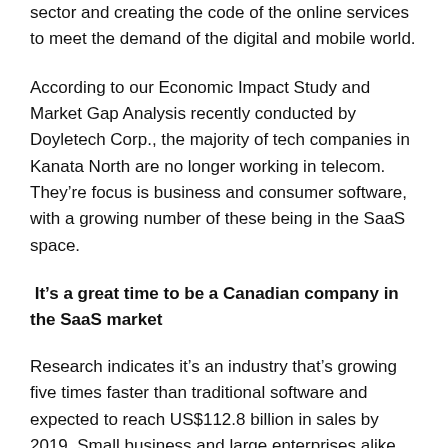sector and creating the code of the online services to meet the demand of the digital and mobile world.
According to our Economic Impact Study and Market Gap Analysis recently conducted by Doyletech Corp., the majority of tech companies in Kanata North are no longer working in telecom. They’re focus is business and consumer software, with a growing number of these being in the SaaS space.
It’s a great time to be a Canadian company in the SaaS market
Research indicates it’s an industry that’s growing five times faster than traditional software and expected to reach US$112.8 billion in sales by 2019. Small business and large enterprises alike are turning to SaaS